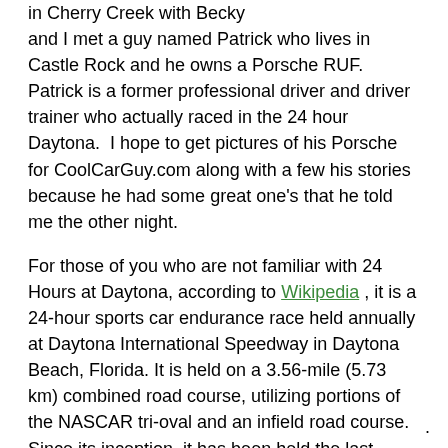in Cherry Creek with Becky and I met a guy named Patrick who lives in Castle Rock and he owns a Porsche RUF. Patrick is a former professional driver and driver trainer who actually raced in the 24 hour Daytona.  I hope to get pictures of his Porsche for CoolCarGuy.com along with a few his stories because he had some great one's that he told me the other night.
For those of you who are not familiar with 24 Hours at Daytona, according to Wikipedia , it is a 24-hour sports car endurance race held annually at Daytona International Speedway in Daytona Beach, Florida. It is held on a 3.56-mile (5.73 km) combined road course, utilizing portions of the NASCAR tri-oval and an infield road course. Since its inception, it has been held the last weekend of January or first weekend of February, part of Speedweeks, and it is the first major automobile race of the year in the United States.
The Porsche RUF is a race car.  It's an amazing piece of